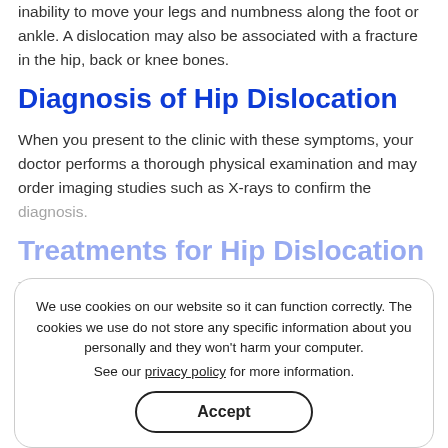inability to move your legs and numbness along the foot or ankle. A dislocation may also be associated with a fracture in the hip, back or knee bones.
Diagnosis of Hip Dislocation
When you present to the clinic with these symptoms, your doctor performs a thorough physical examination and may order imaging studies such as X-rays to confirm the diagnosis.
Treatments for Hip Dislocation
Treatment involves reduction, wherein your doctor repositions the bones to their normal position under anesthesia. Surgery may be performed to remove fragments of bone or torn tissues that block and prevent reduction.
We use cookies on our website so it can function correctly. The cookies we use do not store any specific information about you personally and they won't harm your computer.

See our privacy policy for more information.